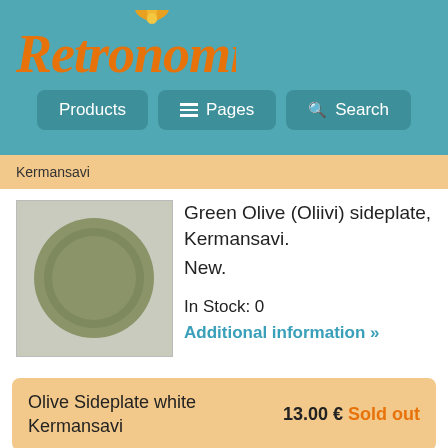[Figure (logo): Retronomi logo with orange italic script text and yellow leaf/flower icon on teal background]
Products | Pages | Search
Kermansavi
[Figure (photo): Green olive colored round sideplate on light background]
Green Olive (Oliivi) sideplate, Kermansavi.
New.

In Stock: 0
Additional information »
Olive Sideplate white Kermansavi
13.00 € Sold out